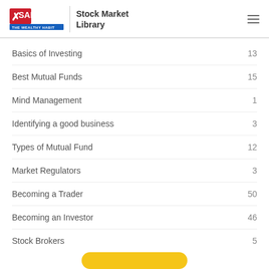SAMCO THE WEALTHY HABIT | Stock Market Library
Basics of Investing  13
Best Mutual Funds  15
Mind Management  1
Identifying a good business  3
Types of Mutual Fund  12
Market Regulators  3
Becoming a Trader  50
Becoming an Investor  46
Stock Brokers  5